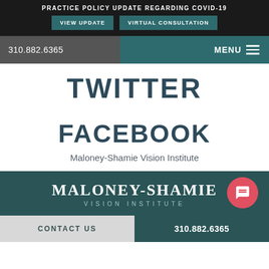PRACTICE POLICY UPDATE REGARDING COVID-19
VIEW UPDATE
VIRTUAL CONSULTATION
310.882.6365
MENU
TWITTER
FACEBOOK
Maloney-Shamie Vision Institute
[Figure (logo): Maloney-Shamie Vision Institute logo in white text on teal background]
CONTACT US | 310.882.6365